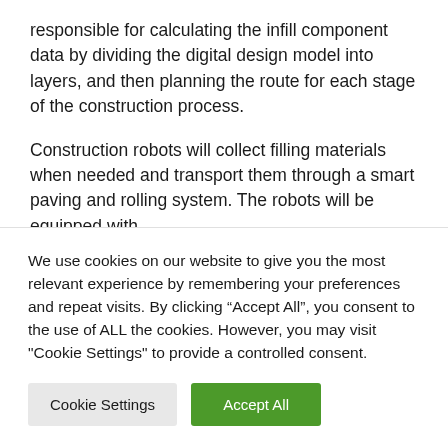responsible for calculating the infill component data by dividing the digital design model into layers, and then planning the route for each stage of the construction process.
Construction robots will collect filling materials when needed and transport them through a smart paving and rolling system. The robots will be equipped with
We use cookies on our website to give you the most relevant experience by remembering your preferences and repeat visits. By clicking “Accept All”, you consent to the use of ALL the cookies. However, you may visit "Cookie Settings" to provide a controlled consent.